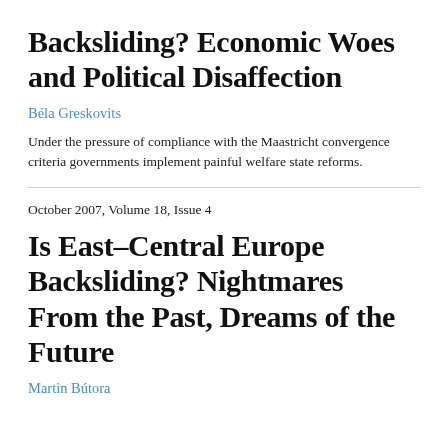Backsliding? Economic Woes and Political Disaffection
Béla Greskovits
Under the pressure of compliance with the Maastricht convergence criteria governments implement painful welfare state reforms.
October 2007, Volume 18, Issue 4
Is East–Central Europe Backsliding? Nightmares From the Past, Dreams of the Future
Martin Bútora